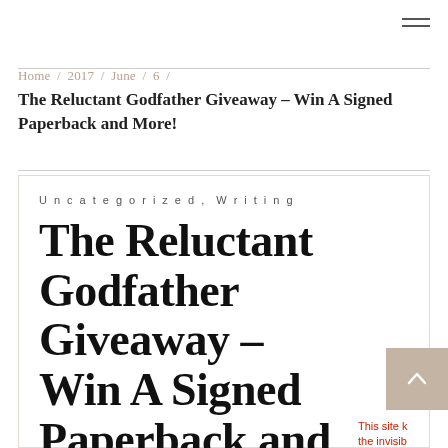Home / 2017 / June / 6 /
The Reluctant Godfather Giveaway – Win A Signed Paperback and More!
Uncategorized, Writing
The Reluctant Godfather Giveaway – Win A Signed Paperback and More
Allison Tebo / June 6, 2017